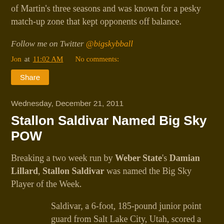of Martin's three seasons and was known for a pesky match-up zone that kept opponents off balance.
Follow me on Twitter @bigskybball
Jon at 11:02 AM    No comments:
Share
Wednesday, December 21, 2011
Stallon Saldivar Named Big Sky POW
Breaking a two week run by Weber State's Damian Lillard, Stallon Saldivar was named the Big Sky Player of the Week.
Saldivar, a 6-foot, 185-pound junior point guard from Salt Lake City, Utah, scored a career-high